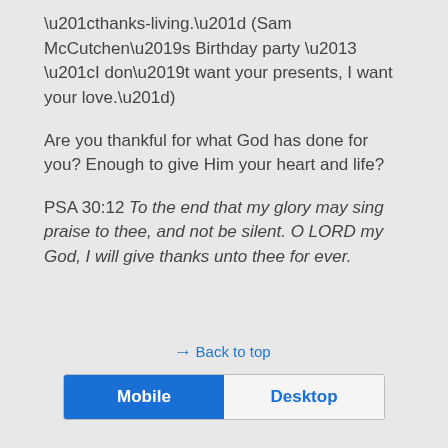“thanks-living.” (Sam McCutchen’s Birthday party – “I don’t want your presents, I want your love.”)
Are you thankful for what God has done for you? Enough to give Him your heart and life?
PSA 30:12 To the end that my glory may sing praise to thee, and not be silent. O LORD my God, I will give thanks unto thee for ever.
« Back to top
Mobile | Desktop